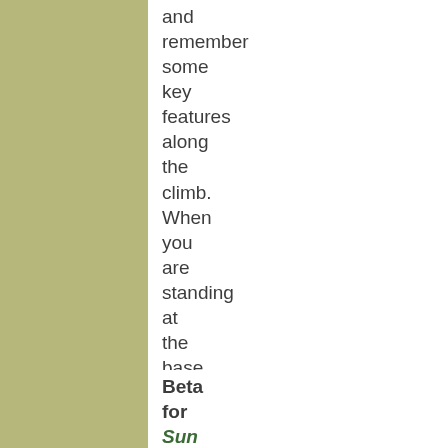and remember some key features along the climb. When you are standing at the base, it's very hard to tell where the route goes.
Beta for Sun Ribbon Arête